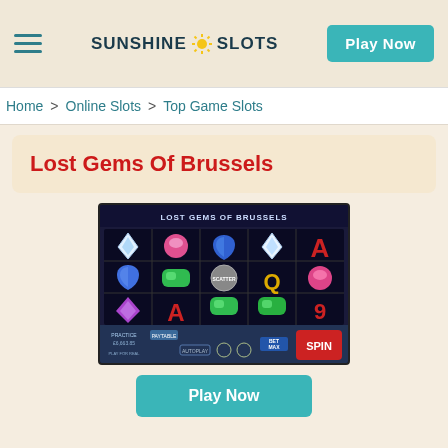SUNSHINE SLOTS | Play Now
Home > Online Slots > Top Game Slots
Lost Gems Of Brussels
[Figure (screenshot): Screenshot of the Lost Gems Of Brussels slot game interface showing gem symbols including diamonds, hearts, emeralds and card symbols on a dark blue background with PRACTICE mode and SPIN button visible.]
Play Now